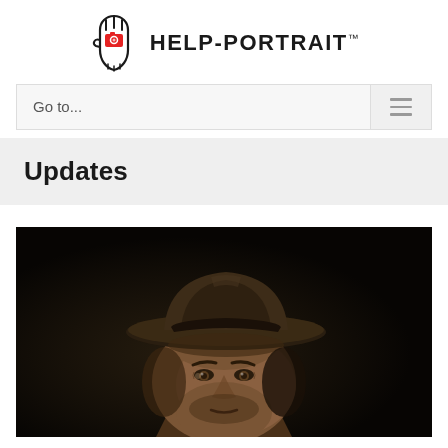[Figure (logo): Help-Portrait logo: hand outline with red camera icon, with text HELP-PORTRAIT and trademark symbol]
Go to...
Updates
[Figure (photo): Portrait of a man wearing a brown fedora hat against a dark background, face partially visible from forehead to chin]